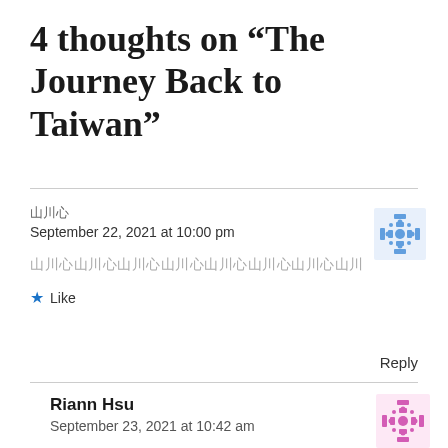4 thoughts on “The Journey Back to Taiwan”
 00 00 00
September 22, 2021 at 10:00 pm
 00 00 00 00 00 00 00 00 00 00 00 00 00 00 00 00 00 00 00 00 00 00 00 00 00
Like
Reply
Riann Hsu
September 23, 2021 at 10:42 am